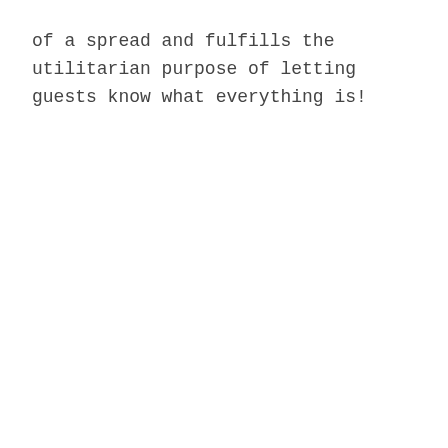of a spread and fulfills the utilitarian purpose of letting guests know what everything is!